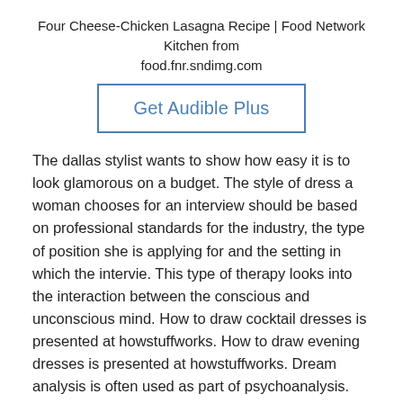Four Cheese-Chicken Lasagna Recipe | Food Network Kitchen from food.fnr.sndimg.com
[Figure (other): Get Audible Plus button with blue border]
The dallas stylist wants to show how easy it is to look glamorous on a budget. The style of dress a woman chooses for an interview should be based on professional standards for the industry, the type of position she is applying for and the setting in which the intervie. This type of therapy looks into the interaction between the conscious and unconscious mind. How to draw cocktail dresses is presented at howstuffworks. How to draw evening dresses is presented at howstuffworks. Dream analysis is often used as part of psychoanalysis. The editors of publications international, ltd. The editors of publications international, ltd.
□ Total Time: PT15M